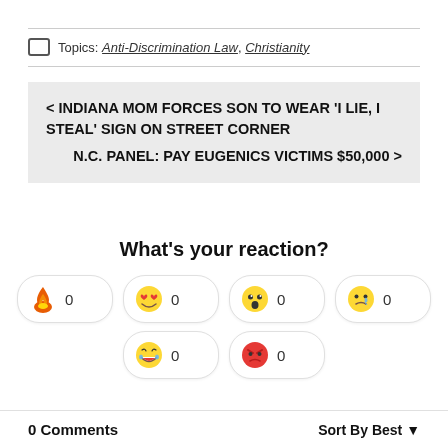Topics: Anti-Discrimination Law, Christianity
< INDIANA MOM FORCES SON TO WEAR 'I LIE, I STEAL' SIGN ON STREET CORNER
N.C. PANEL: PAY EUGENICS VICTIMS $50,000 >
What's your reaction?
0 (Hot) 0 (Love) 0 (Surprised) 0 (Sad) 0 (Laugh) 0 (Angry)
0 Comments   Sort By Best